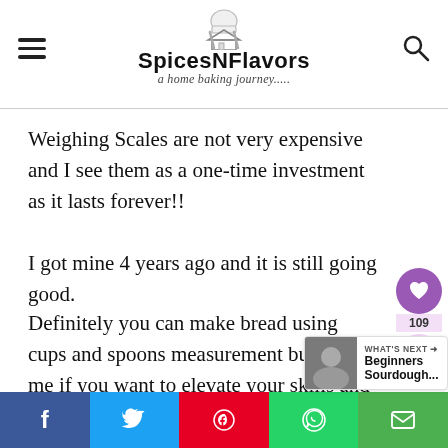SpicesNFlavors - a home baking journey.....
Weighing Scales are not very expensive and I see them as a one-time investment as it lasts forever!!
I got mine 4 years ago and it is still going good.
Definitely you can make bread using cups and spoons measurement but trust me if you want to elevate your skills and your bread to the next level then a scale is your getaway
[Figure (other): Social share buttons bar at bottom: Facebook, Twitter, Pinterest, WhatsApp, Email]
[Figure (other): What's Next widget showing Beginners Sourdough... article]